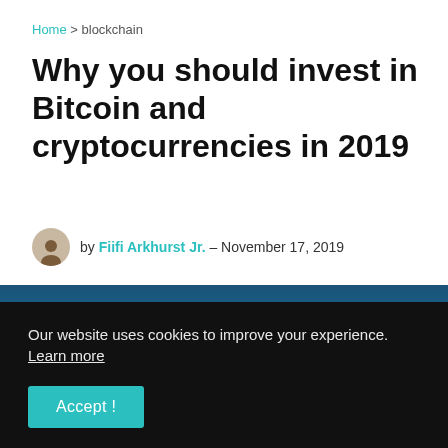Home > blockchain
Why you should invest in Bitcoin and cryptocurrencies in 2019
by Fiifi Arkhurst Jr. – November 17, 2019
[Figure (photo): Header image with cryptocurrency coins (Ethereum, Bitcoin, Litecoin) on a dark blue background]
Our website uses cookies to improve your experience. Learn more
Accept !